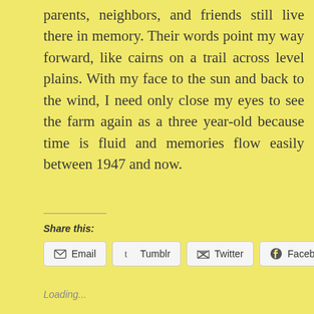parents, neighbors, and friends still live there in memory. Their words point my way forward, like cairns on a trail across level plains. With my face to the sun and back to the wind, I need only close my eyes to see the farm again as a three year-old because time is fluid and memories flow easily between 1947 and now.
Share this:
Email   Tumblr   Twitter   Facebook
Loading...